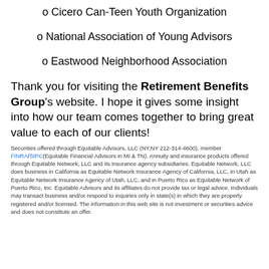o Cicero Can-Teen Youth Organization
o National Association of Young Advisors
o Eastwood Neighborhood Association
Thank you for visiting the Retirement Benefits Group's website. I hope it gives some insight into how our team comes together to bring great value to each of our clients!
Securities offered through Equitable Advisors, LLC (NY,NY 212-314-4600), member FINRA/SIPC(Equitable Financial Advisors in MI & TN). Annuity and insurance products offered through Equitable Network, LLC and its insurance agency subsidiaries. Equitable Network, LLC does business in California as Equitable Network Insurance Agency of California, LLC, in Utah as Equitable Network Insurance Agency of Utah, LLC, and in Puerto Rico as Equitable Network of Puerto Rico, Inc. Equitable Advisors and its affiliates do not provide tax or legal advice. Individuals may transact business and/or respond to inquiries only in state(s) in which they are properly registered and/or licensed. The information in this web site is not investment or securities advice and does not constitute an offer.